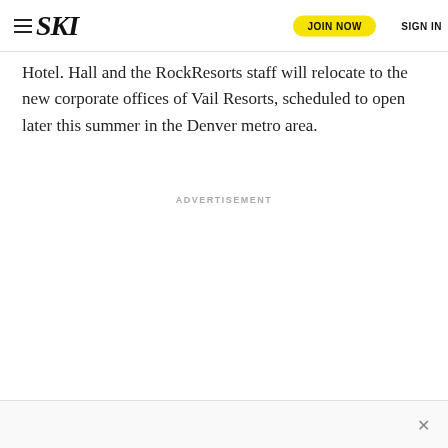SKI | JOIN NOW | SIGN IN
Hotel. Hall and the RockResorts staff will relocate to the new corporate offices of Vail Resorts, scheduled to open later this summer in the Denver metro area.
ADVERTISEMENT